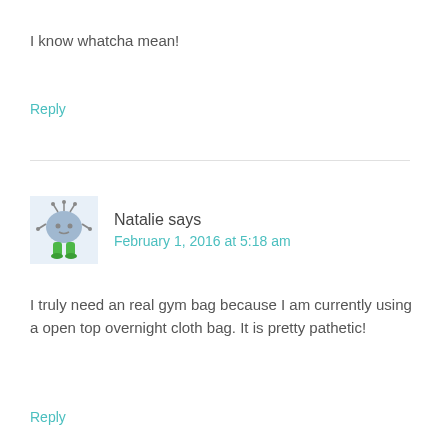I know whatcha mean!
Reply
Natalie says February 1, 2016 at 5:18 am
I truly need an real gym bag because I am currently using a open top overnight cloth bag. It is pretty pathetic!
Reply